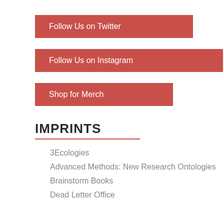Follow Us on Twitter
Follow Us on Instagram
Shop for Merch
IMPRINTS
3Ecologies
Advanced Methods: New Research Ontologies
Brainstorm Books
Dead Letter Office